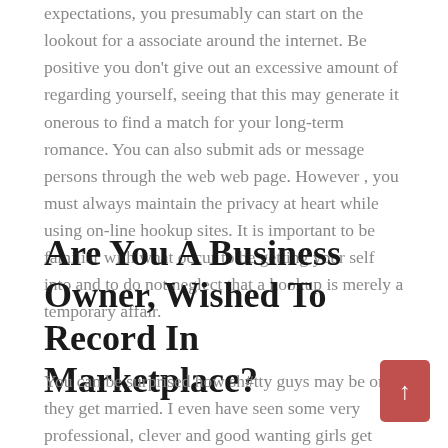expectations, you presumably can start on the lookout for a associate around the internet. Be positive you don't give out an excessive amount of regarding yourself, seeing that this may generate it onerous to find a match for your long-term romance. You can also submit ads or message persons through the web web page. However , you must always maintain the privacy at heart while using on-line hookup sites. It is important to be familiar with what occur to be getting your self into and to do not neglect that a hookup is merely a temporary affair.
Are You A Business Owner, Wished To Record In Marketplace?
You can be surprised how sh#tty guys may be once they get married. I even have seen some very professional, clever and good wanting girls get divorced as a end result of their husbands were unbelievably abusive. You would